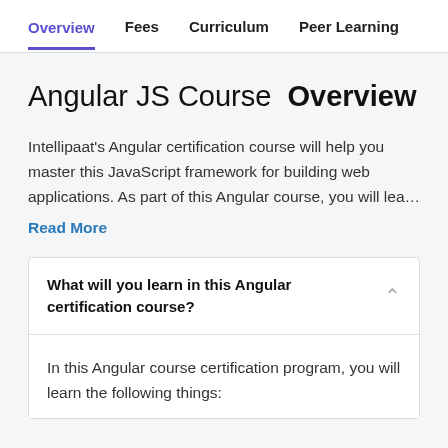Overview  Fees  Curriculum  Peer Learning
Angular JS Course Overview
Intellipaat's Angular certification course will help you master this JavaScript framework for building web applications. As part of this Angular course, you will lea…
Read More
What will you learn in this Angular certification course?
In this Angular course certification program, you will learn the following things: